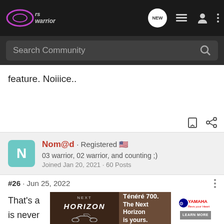rs warrior — NEW [nav icons]
Search Community
feature. Noiiice..
Nom@d · Registered
03 warrior, 02 warrior, and counting ;)
Joined Jan 20, 2021 · 60 Posts
#26 · Jun 25, 2022
That's a wiring is never ou
[Figure (screenshot): Yamaha Ténéré 700 advertisement banner showing motorcycle and text 'Ténéré 700. The Next Horizon is yours.' with LEARN MORE button]